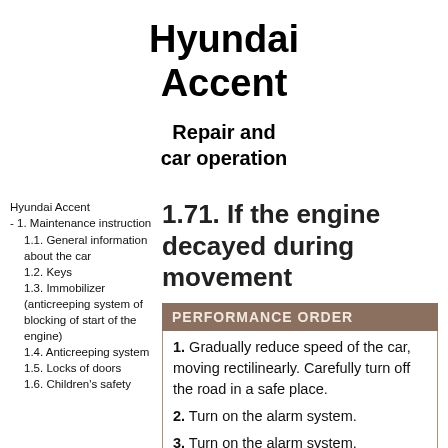Hyundai Accent
Repair and car operation
Hyundai Accent
- 1. Maintenance instruction
    1.1. General information about the car
    1.2. Keys
    1.3. Immobilizer (anticreeping system of blocking of start of the engine)
    1.4. Anticreeping system
    1.5. Locks of doors
    1.6. Children's safety
1.71. If the engine decayed during movement
PERFORMANCE ORDER
1. Gradually reduce speed of the car, moving rectilinearly. Carefully turn off the road in a safe place.
2. Turn on the alarm system.
3. Turn on the alarm system.